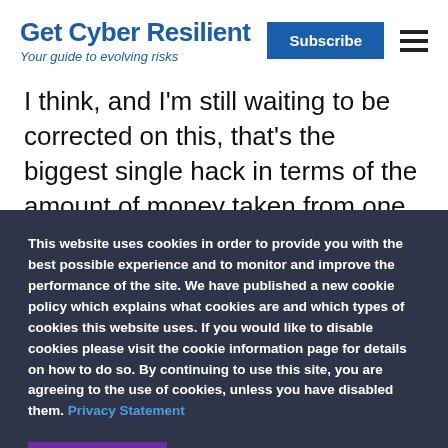Get Cyber Resilient
Your guide to evolving risks
I think, and I'm still waiting to be corrected on this, that's the biggest single hack in terms of the amount of money taken from one single victim in one single
This website uses cookies in order to provide you with the best possible experience and to monitor and improve the performance of the site. We have published a new cookie policy which explains what cookies are and which types of cookies this website uses. If you would like to disable cookies please visit the cookie information page for details on how to do so. By continuing to use this site, you are agreeing to the use of cookies, unless you have disabled them. Privacy Statement
Accept